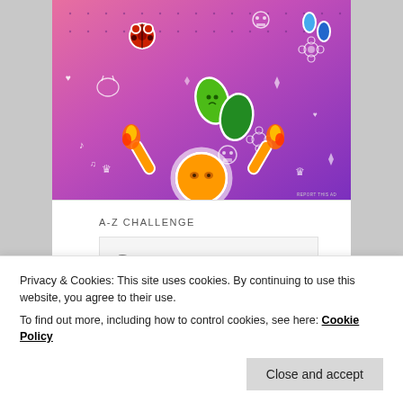[Figure (illustration): Colorful illustrated advertisement with gradient pink-to-purple background covered in white doodles (hearts, crowns, skulls, music notes, flowers, arrows). Features cartoon stickers including green leaves with faces, ladybugs, blue teardrops, orange flame hands, and a central orange round character with raised arms. Small 'REPORT THIS AD' text in lower right.]
A-Z CHALLENGE
[Figure (screenshot): Partial view of a content box with light gray background showing the word 'Sorry' in large italic gray serif font, partially visible.]
Privacy & Cookies: This site uses cookies. By continuing to use this website, you agree to their use.
To find out more, including how to control cookies, see here: Cookie Policy
Close and accept